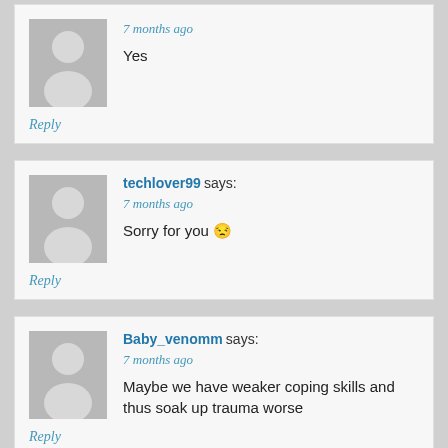[Figure (illustration): Generic user avatar placeholder (grey silhouette)]
7 months ago
Yes
Reply
techlover99 says:
7 months ago
Sorry for you 😒
Reply
Baby_venomm says:
7 months ago
Maybe we have weaker coping skills and thus soak up trauma worse
Reply